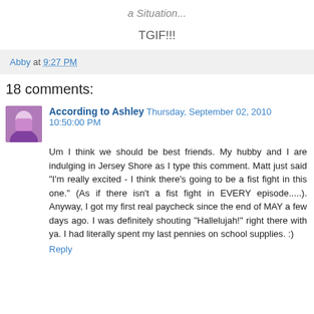a Situation...
TGIF!!!
Abby at 9:27 PM
18 comments:
According to Ashley  Thursday, September 02, 2010 10:50:00 PM
Um I think we should be best friends. My hubby and I are indulging in Jersey Shore as I type this comment. Matt just said "I'm really excited - I think there's going to be a fist fight in this one." (As if there isn't a fist fight in EVERY episode.....). Anyway, I got my first real paycheck since the end of MAY a few days ago. I was definitely shouting "Hallelujah!" right there with ya. I had literally spent my last pennies on school supplies. :)
Reply